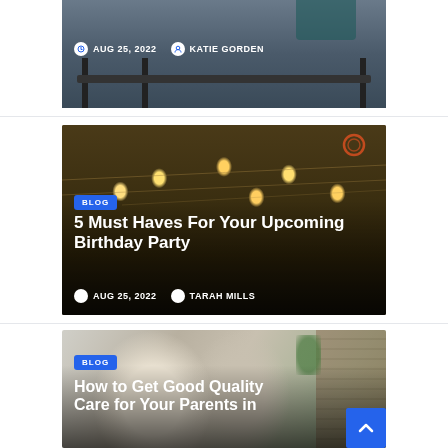[Figure (photo): Partial view of a blog card with dark bedroom/furniture image showing date AUG 25, 2022 and author KATIE GORDEN]
AUG 25, 2022
KATIE GORDEN
[Figure (photo): Outdoor birthday party scene with string lights, HAPPY BIRTHDAY banner, blog card overlay]
BLOG
5 Must Haves For Your Upcoming Birthday Party
AUG 25, 2022
TARAH MILLS
[Figure (photo): Two people looking at tablet/laptop together, elderly man and younger man smiling]
BLOG
How to Get Good Quality Care for Your Parents in